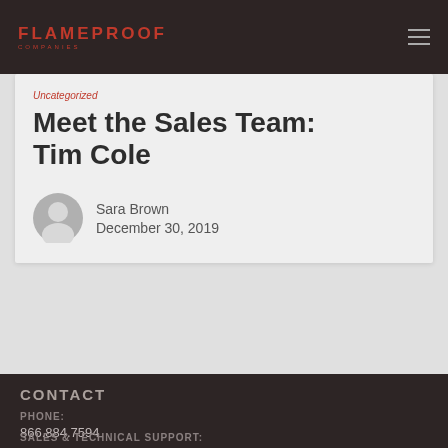Flameproof Companies
Uncategorized
Meet the Sales Team: Tim Cole
Sara Brown
December 30, 2019
CONTACT
PHONE:
866.884.7594
SALES & TECHNICAL SUPPORT: